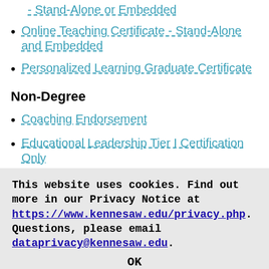- Stand-Alone or Embedded
Online Teaching Certificate - Stand-Alone and Embedded
Personalized Learning Graduate Certificate
Non-Degree
Coaching Endorsement
Educational Leadership Tier I Certification Only
Educational Leadership Tier II Certificati...
This website uses cookies. Find out more in our Privacy Notice at https://www.kennesaw.edu/privacy.php. Questions, please email dataprivacy@kennesaw.edu.
OK